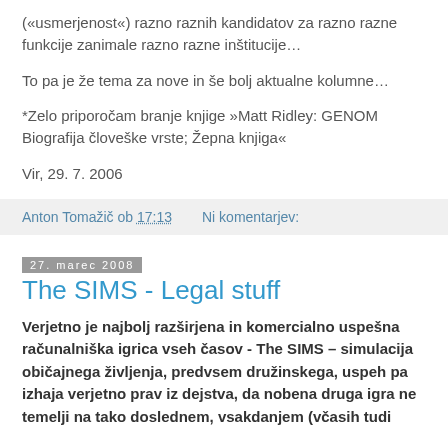(»usmerjenost«) razno raznih kandidatov za razno razne funkcije zanimale razno razne inštitucije…
To pa je že tema za nove in še bolj aktualne kolumne…
*Zelo priporočam branje knjige »Matt Ridley: GENOM Biografija človeške vrste; Žepna knjiga«
Vir, 29. 7. 2006
Anton Tomažič ob 17:13    Ni komentarjev:
27. marec 2008
The SIMS - Legal stuff
Verjetno je najbolj razširjena in komercialno uspešna računalniška igrica vseh časov - The SIMS – simulacija običajnega življenja, predvsem družinskega, uspeh pa izhaja verjetno prav iz dejstva, da nobena druga igra ne temelji na tako doslednem, vsakdanjem (včasih tudi